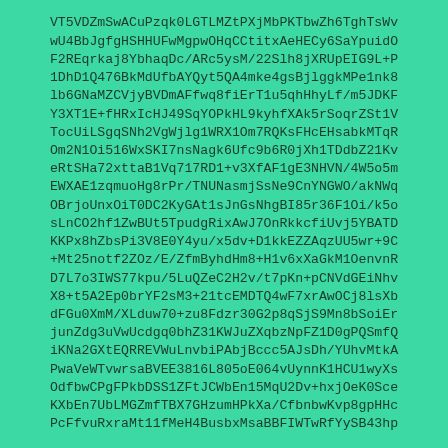VT5VDZmSwACuPzqk0LGTLMZtPXjMbPKTbwZh6TghTsWvwU4BbJgfgHSHHUFwMgpwOHqCCtitxAeHECy6SaYpuidOF2REqrkaj8YbhaqDc/ARc5ysM/22Slh8jXRUpEIG9L+P1DhD1Q476BkMdUfbAYQyt5QA4mke4gsBjlggkMPe1nk8lb6GNaMZCVjyBVDmAFfwq8fiErT1u5qhHhyLf/m5JDKFY3XT1E+fHRxIcHJ49SqYOPkHL9kyhfXAk5rSoqrZSt1VTocUiLSgqSNh2VgWjlg1WRX1Om7RQKsFHcEHsabkMTqROm2N1Oi516WxSKI7nsNagk6Ufc9b6R0jXh1TDdbZ21KveRtSHa72xttaB1Vq717RD1+v3XfAF1gE3NHVN/4W5o5mEWXAE1zqmuoHg8rPr/TNUNasmjSsNe9CnYNGWO/akNWqOBrjoUnxOiT0DC2KyGAt1sJnGsNhgBI85r36F1Oi/k5osLnCO2hf1ZwBUt5TpudgRixAwJ7OnRkkcfiUvj5YBATDKKPx8hZbsPi3V8E0Y4yu/x5dv+D1kkEZZAqzUU5wr+9C+Mt25notf2ZOz/E/ZfmByhdHm8+H1v6xXaGkM1OenvnRD7L7o3IWS77kpu/5LuQZeC2H2v/t7pKn+pCNVdGEiNhvX8+t5A2Ep0brYF2sM3+21tcEMDTQ4wF7xrAwOCj8lsXbdFGu0XmM/XLduw70+zu8Fdzr30G2p8qSjS9Mn8bSoiErjunZdg3uVwUcdgq0bhZ31KWJuZXqbzNpFZ1D0gPQSmfQiKNa2GXtEQRREVWuLnvbiPAbjBccc5AJsDh/YUhvMtkAPwaVeWTvwrsaBVEE3816L805oE064vUynnK1HCU1wyXsOdfbwCPgFPkbDSS1ZFtJCWbEn15MqU2Dv+hxjOeK0SceKXbEn7UbLMGZmfTBX7GHzumHPkXa/CfbnbwKvp8gpHHcPcFfvuRxraMt11fMeH4BusbxMsaBBFIWTwRfYySB43hp